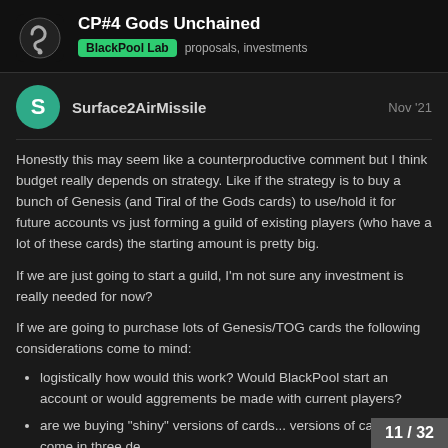CP#4 Gods Unchained — BlackPool Lab · proposals, investments
Surface2AirMissile — Nov '21
Honestly this may seem like a counterproductive comment but I think budget really depends on strategy. Like if the strategy is to buy a bunch of Genesis (and Tiral of the Gods cards) to use/hold it for future accounts vs just forming a guild of existing players (who have a lot of these cards) the starting amount is pretty big.
If we are just going to start a guild, I'm not sure any investment is really needed for now?
If we are going to purchase lots of Genesis/TOG cards the following considerations come to mind:
logistically how would this work? Would BlackPool start an account or would aggrements be made with current players?
are we buying "shiny" versions of cards... versions of cards that come in three de...
11 / 32